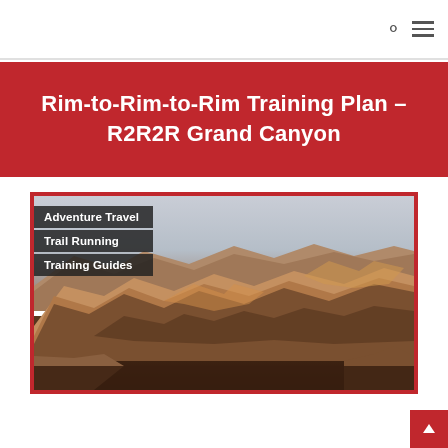Rim-to-Rim-to-Rim Training Plan – R2R2R Grand Canyon
[Figure (photo): Panoramic photo of the Grand Canyon showing layered red and orange canyon walls with a dramatic sky. Overlaid text labels read: Adventure Travel, Trail Running, Training Guides.]